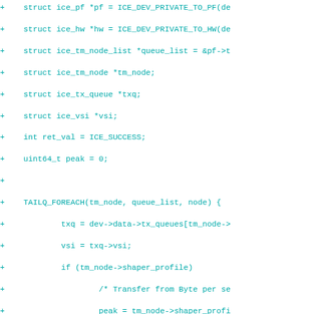[Figure (screenshot): Code diff snippet showing C source code additions (lines prefixed with +) for a traffic manager configuration function. The code includes struct declarations, a TAILQ_FOREACH loop, bandwidth limit configuration, error handling, and a fail_clear label. Text is rendered in teal/cyan monospace font on white background.]